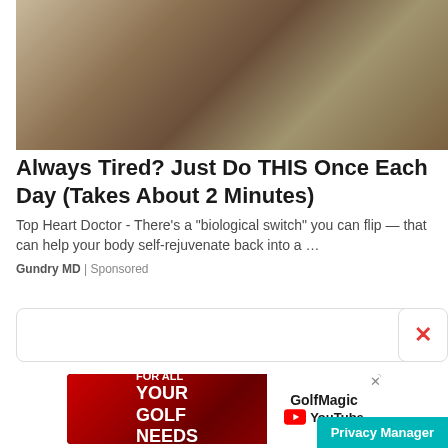[Figure (photo): A man in a grey suit pointing at a model or object, medical/health advertisement image]
Always Tired? Just Do THIS Once Each Day (Takes About 2 Minutes)
Top Heart Doctor - There’s a “biological switch” you can flip — that can help your body self-rejuvenate back into a …
Gundry MD | Sponsored
[Figure (screenshot): White box UI element with red X close button on the right side]
[Figure (photo): GolfMagic YouTube advertisement banner with red background showing FOR ALL YOUR GOLF NEEDS text on left and GolfMagic YouTube branding on right]
Privacy Manager